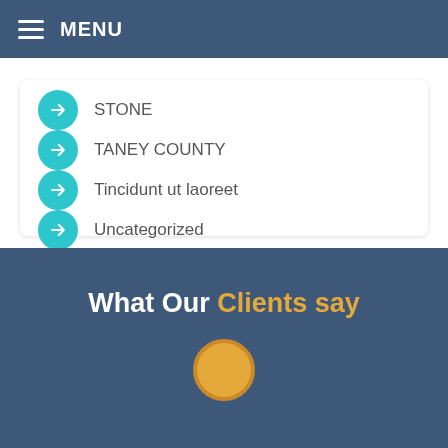MENU
STONE
TANEY COUNTY
Tincidunt ut laoreet
Uncategorized
WEBSTER
What Our Clients say